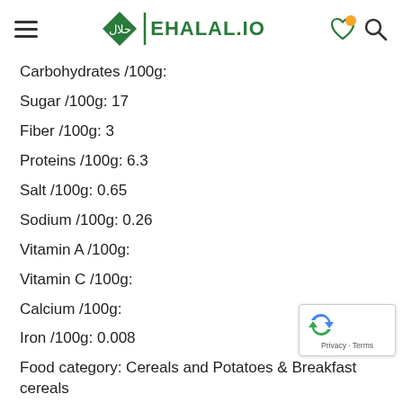EHALAL.IO
Carbohydrates /100g:
Sugar /100g: 17
Fiber /100g: 3
Proteins /100g: 6.3
Salt /100g: 0.65
Sodium /100g: 0.26
Vitamin A /100g:
Vitamin C /100g:
Calcium /100g:
Iron /100g: 0.008
Food category: Cereals and Potatoes & Breakfast cereals
Ingredients: